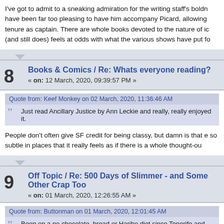I've got to admit to a sneaking admiration for the writing staff's boldn have been far too pleasing to have him accompany Picard, allowing tenure as captain. There are whole books devoted to the nature of ic (and still does) feels at odds with what the various shows have put fo
Books & Comics / Re: Whats everyone reading?
« on: 12 March, 2020, 09:39:57 PM »
Quote from: Keef Monkey on 02 March, 2020, 11:36:46 AM
Just read Ancillary Justice by Ann Leckie and really, really enjoyed it.
People don't often give SF credit for being classy, but damn is that e so subtle in places that it really feels as if there is a whole thought-ou
Off Topic / Re: 500 Days of Slimmer - and Some Other Crap Too
« on: 01 March, 2020, 12:26:55 AM »
Quote from: Buttonman on 01 March, 2020, 12:01:45 AM
Been on a no chocolate, bread or Haribo diet since Tenerife and have only shifted abo
Cutting certain foods from your diet is no guarantee that you will see concentrate more on how you feel overall. It really isn't the foods the thought. Criticising, and multi-intake of which can be more difficult th